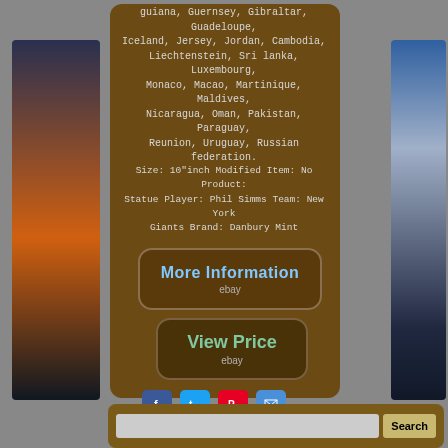[Figure (illustration): Left sidebar with sunset/waterfront cityscape decorative background]
[Figure (illustration): Right sidebar with city skyline night scene decorative background]
guiana, Guernsey, Gibraltar, Guadeloupe, Iceland, Jersey, Jordan, Cambodia, Liechtenstein, Sri lanka, Luxembourg, Monaco, Macao, Martinique, Maldives, Nicaragua, Oman, Pakistan, Paraguay, Reunion, Uruguay, Russian federation.
Size: 10"inch Modified Item: No Product: Statue Player: Phil Simms Team: New York Giants Brand: Danbury Mint
[Figure (screenshot): More Information button with eBay logo]
[Figure (screenshot): View Price button with eBay logo]
[Figure (infographic): Social share icons: Facebook, Twitter, Pinterest, Email]